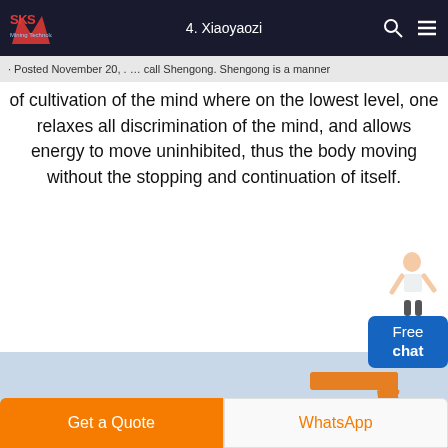4. Xiaoyaozi
[Figure (logo): SKS Mining Technology logo with red S graphic and blue text]
Posted November 20, . … call Shengong. Shengong is a manner of cultivation of the mind where on the lowest level, one relaxes all discrimination of the mind, and allows energy to move uninhibited, thus the body moving without the stopping and continuation of itself.
[Figure (infographic): Free chat widget with a woman figure and blue button labeled Free chat]
[Figure (photo): Industrial machinery photo showing green mixing/crushing equipment and red truck cab with orange crane structure in background]
Get a Quote
WhatsApp